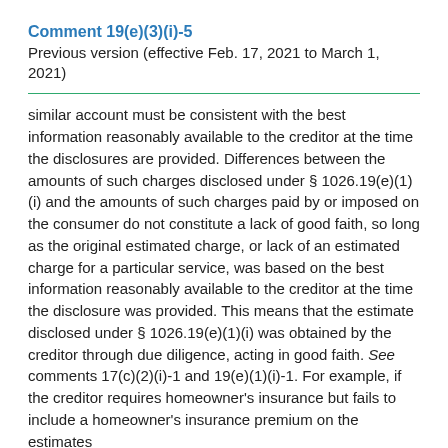Comment 19(e)(3)(i)-5
Previous version (effective Feb. 17, 2021 to March 1, 2021)
similar account must be consistent with the best information reasonably available to the creditor at the time the disclosures are provided. Differences between the amounts of such charges disclosed under § 1026.19(e)(1)(i) and the amounts of such charges paid by or imposed on the consumer do not constitute a lack of good faith, so long as the original estimated charge, or lack of an estimated charge for a particular service, was based on the best information reasonably available to the creditor at the time the disclosure was provided. This means that the estimate disclosed under § 1026.19(e)(1)(i) was obtained by the creditor through due diligence, acting in good faith. See comments 17(c)(2)(i)-1 and 19(e)(1)(i)-1. For example, if the creditor requires homeowner's insurance but fails to include a homeowner's insurance premium on the estimates